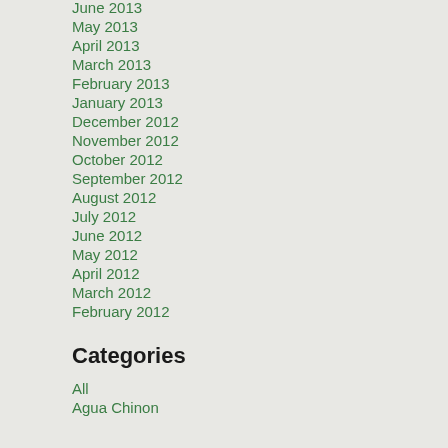June 2013
May 2013
April 2013
March 2013
February 2013
January 2013
December 2012
November 2012
October 2012
September 2012
August 2012
July 2012
June 2012
May 2012
April 2012
March 2012
February 2012
Categories
All
Agua Chinon